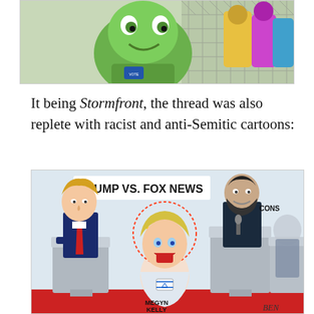[Figure (illustration): Top portion of an image showing cartoon characters including Pepe the Frog near a chain-link fence]
It being Stormfront, the thread was also replete with racist and anti-Semitic cartoons:
[Figure (illustration): A political cartoon titled 'Trump vs. Fox News' showing caricatures of Donald Trump, Megyn Kelly (labeled 'Megyn Kelly'), and another figure labeled 'Cons' at debate podiums]